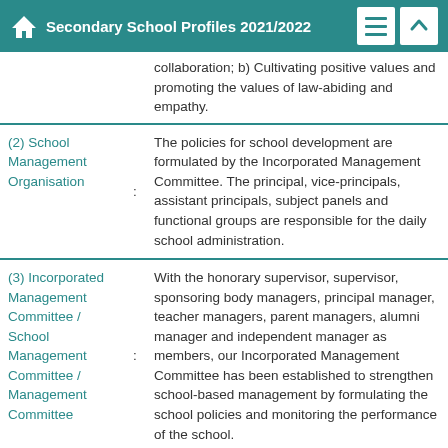Secondary School Profiles 2021/2022
| Category | : | Description |
| --- | --- | --- |
|  |  | collaboration; b) Cultivating positive values and promoting the values of law-abiding and empathy. |
| (2) School Management Organisation | : | The policies for school development are formulated by the Incorporated Management Committee. The principal, vice-principals, assistant principals, subject panels and functional groups are responsible for the daily school administration. |
| (3) Incorporated Management Committee / School Management Committee / Management Committee | : | With the honorary supervisor, supervisor, sponsoring body managers, principal manager, teacher managers, parent managers, alumni manager and independent manager as members, our Incorporated Management Committee has been established to strengthen school-based management by formulating the school policies and monitoring the performance of the school. |
|  |  | We are actively involved in Tung Wah Group of Hospitals' Green Initiatives by integrating |